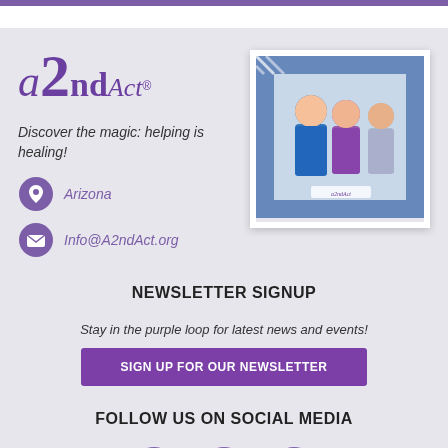a2ndAct®
Discover the magic: helping is healing!
Arizona
Info@A2ndAct.org
[Figure (photo): Three women smiling inside a blue and white striped decorative frame at an event, with a2ndAct sign visible]
NEWSLETTER SIGNUP
Stay in the purple loop for latest news and events!
SIGN UP FOR OUR NEWSLETTER
FOLLOW US ON SOCIAL MEDIA
[Figure (logo): Facebook, Twitter, and YouTube social media icons in purple circular style]